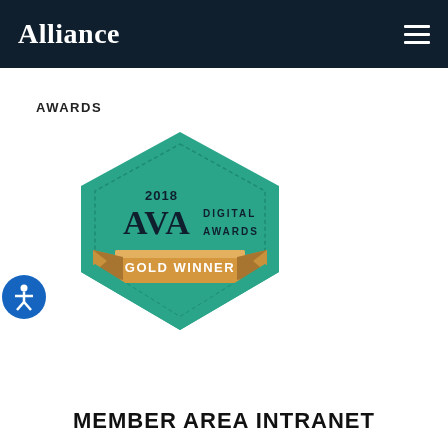Alliance
AWARDS
[Figure (logo): 2018 AVA Digital Awards Gold Winner badge — teal hexagonal shield shape with a gold ribbon banner reading GOLD WINNER]
MEMBER AREA INTRANET